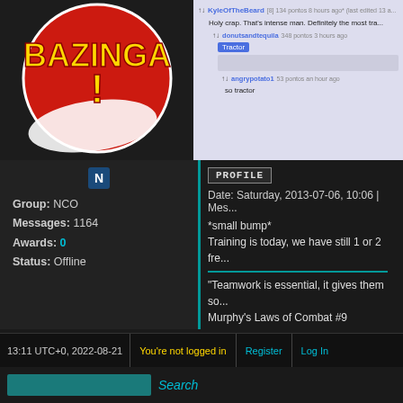[Figure (screenshot): Top left: Bazinga! logo (red circle with yellow text). Top right: Reddit comment thread screenshot showing KyleOfTheBeard, donutsandtequila, and angrypotato1 discussing a tractor.]
Group: NCO
Messages: 1164
Awards: 0
Status: Offline
PROFILE
Date: Saturday, 2013-07-06, 10:06 | Mes...
*small bump*
Training is today, we have still 1 or 2 fre...
"Teamwork is essential, it gives them so...
Murphy's Laws of Combat #9
Raptor
[Figure (photo): Philosoraptor meme: green dinosaur with text MY CHIN at top and ITCHES! at bottom]
13:11 UTC+0, 2022-08-21   You're not logged in   Register   Log In
Search